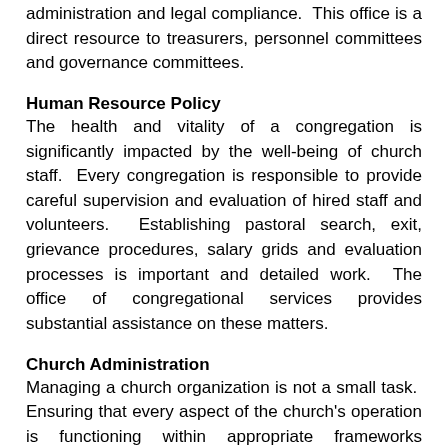administration and legal compliance.  This office is a direct resource to treasurers, personnel committees and governance committees.
Human Resource Policy
The health and vitality of a congregation is significantly impacted by the well-being of church staff.  Every congregation is responsible to provide careful supervision and evaluation of hired staff and volunteers.  Establishing pastoral search, exit, grievance procedures, salary grids and evaluation processes is important and detailed work.  The office of congregational services provides substantial assistance on these matters.
Church Administration
Managing a church organization is not a small task.  Ensuring that every aspect of the church's operation is functioning within appropriate frameworks including a constitution, policies and job descriptions can be overwhelming.  MBCM has developed an incredibly extensive Organizational Manual with customizable templates for all aspects of church administration.  These resources are all freely available to